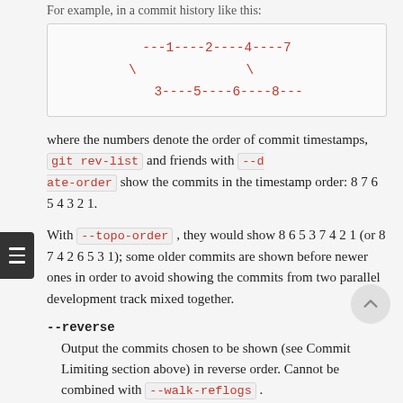For example, in a commit history like this:
[Figure (other): ASCII-art diagram of a git commit graph. Top line: ---1----2----4----7, with backslashes branching down to: 3----5----6----8---]
where the numbers denote the order of commit timestamps, git rev-list and friends with --date-order show the commits in the timestamp order: 8 7 6 5 4 3 2 1.
With --topo-order , they would show 8 6 5 3 7 4 2 1 (or 8 7 4 2 6 5 3 1); some older commits are shown before newer ones in order to avoid showing the commits from two parallel development track mixed together.
--reverse
Output the commits chosen to be shown (see Commit Limiting section above) in reverse order. Cannot be combined with --walk-reflogs .